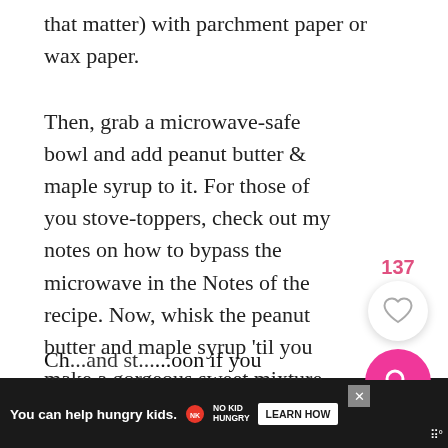that matter) with parchment paper or wax paper.
Then, grab a microwave-safe bowl and add peanut butter & maple syrup to it. For those of you stove-toppers, check out my notes on how to bypass the microwave in the Notes of the recipe. Now, whisk the peanut butter and maple syrup 'til you make a gorgeous sweet mixture like thickened caramel.
Heat the sweetened pb mix until it's fragrant and fluffy.
Now, add in your oats and raw cacao powder. Stir and fold everything together until it's well-combined.
Ch... and st... ...oon if you
[Figure (infographic): Heart/save button with count 137, and pink search button as UI overlay elements on the right side]
[Figure (infographic): Advertisement banner: 'You can help hungry kids. NO KID HUNGRY LEARN HOW' with close button, on dark background]